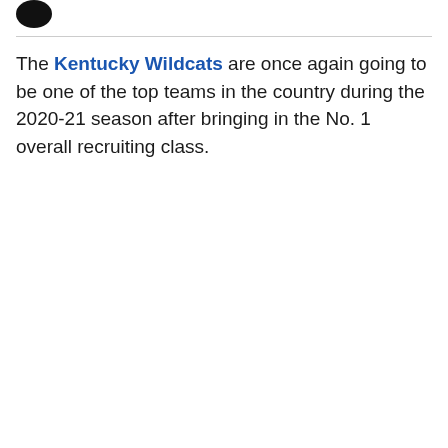[Figure (logo): Partial circular black logo/icon in top-left corner]
The Kentucky Wildcats are once again going to be one of the top teams in the country during the 2020-21 season after bringing in the No. 1 overall recruiting class.